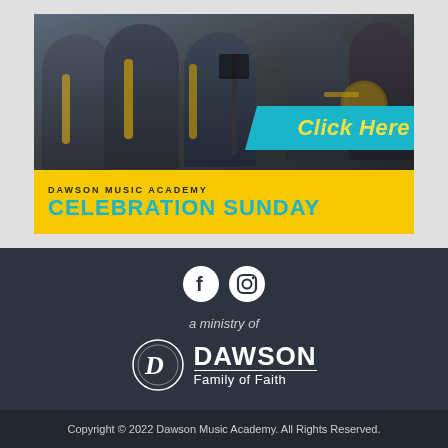[Figure (photo): Photo of student musicians playing saxophones and brass instruments in a band setting. Overlay banner reads 'Click Here' in yellow on teal background. Bottom yellow banner reads 'DAWSON MUSIC ACADEMY CELEBRATION SUNDAY' in teal bold text.]
[Figure (logo): Social media icons: Facebook and Instagram circular icons in white on dark background]
a ministry of
[Figure (logo): Dawson Family of Faith logo: circular D emblem with DAWSON wordmark and 'Family of Faith' tagline in white on dark background]
Copyright © 2022 Dawson Music Academy. All Rights Reserved.